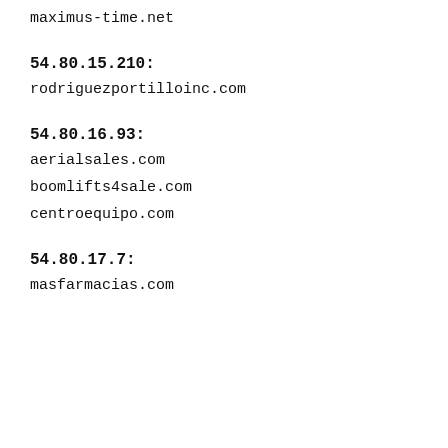maximus-time.net
54.80.15.210:
rodriguezportilloinc.com
54.80.16.93:
aerialsales.com
boomlifts4sale.com
centroequipo.com
54.80.17.7:
masfarmacias.com